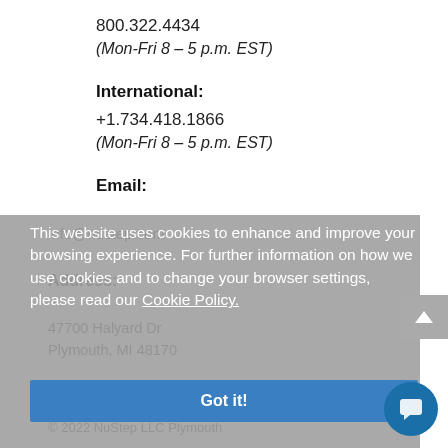800.322.4434
(Mon-Fri 8 – 5 p.m. EST)
International:
+1.734.418.1866
(Mon-Fri 8 – 5 p.m. EST)
Email:
info@nustep.com
Address:
47700 Halyard Dr
Plymouth, MI 48170
This website uses cookies to enhance and improve your browsing experience. For further information on how we use cookies and to change your browser settings, please read our Cookie Policy.
Got it!
© 2022 NuStep LLC Plymouth